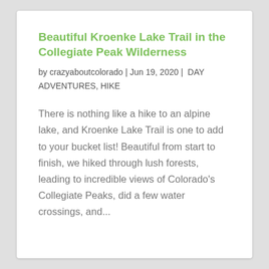Beautiful Kroenke Lake Trail in the Collegiate Peak Wilderness
by crazyaboutcolorado | Jun 19, 2020 | DAY ADVENTURES, HIKE
There is nothing like a hike to an alpine lake, and Kroenke Lake Trail is one to add to your bucket list! Beautiful from start to finish, we hiked through lush forests, leading to incredible views of Colorado's Collegiate Peaks, did a few water crossings, and...